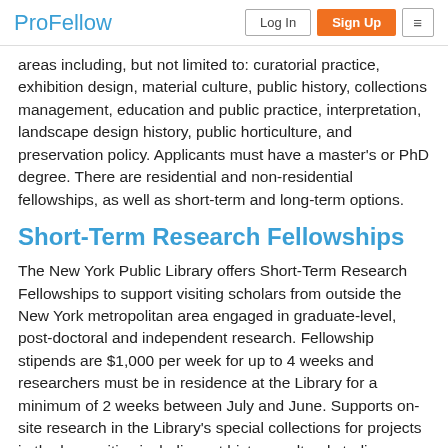ProFellow | Log In | Sign Up
areas including, but not limited to: curatorial practice, exhibition design, material culture, public history, collections management, education and public practice, interpretation, landscape design history, public horticulture, and preservation policy. Applicants must have a master's or PhD degree. There are residential and non-residential fellowships, as well as short-term and long-term options.
Short-Term Research Fellowships
The New York Public Library offers Short-Term Research Fellowships to support visiting scholars from outside the New York metropolitan area engaged in graduate-level, post-doctoral and independent research. Fellowship stipends are $1,000 per week for up to 4 weeks and researchers must be in residence at the Library for a minimum of 2 weeks between July and June. Supports on-site research in the Library's special collections for projects in the humanities including art history, cultural studies, history, literature, performing arts and photography.